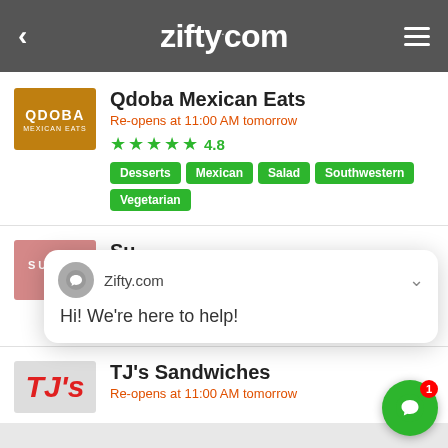zifty.com
[Figure (logo): Qdoba Mexican Eats logo — orange/brown background with white QDOBA text]
Qdoba Mexican Eats
Re-opens at 11:00 AM tomorrow
★★★★★ 4.8
Desserts
Mexican
Salad
Southwestern
Vegetarian
[Figure (logo): Sukoshi logo — pink/red background with white SUKOSHI text]
Su…
Re-c…
★★
Asian
Japanese
Locally Owned
Sushi
Zifty.com — Hi! We're here to help!
[Figure (logo): TJ's Sandwiches logo — TJ's text in red on light background]
TJ's Sandwiches
Re-opens at 11:00 AM tomorrow